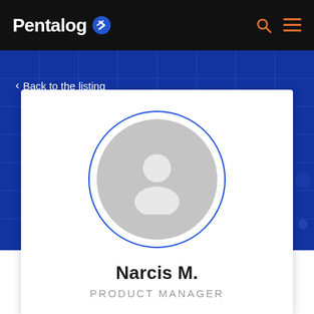Pentalog
< Back to the listing
[Figure (illustration): Generic user avatar placeholder — a gray circle with a white silhouette person icon (head and shoulders), surrounded by a blue circular border ring]
Narcis M.
PRODUCT MANAGER